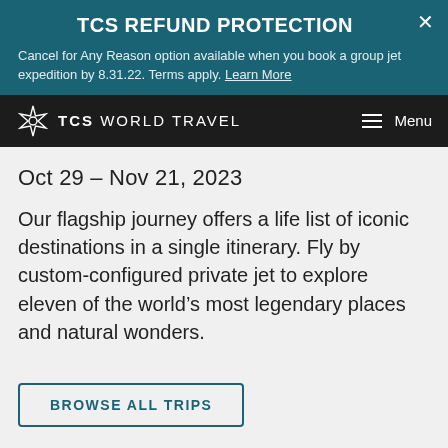TCS REFUND PROTECTION
Cancel for Any Reason option available when you book a group jet expedition by 8.31.22. Terms apply. Learn More
TCS WORLD TRAVEL  Menu
Oct 29 - Nov 21, 2023
Our flagship journey offers a life list of iconic destinations in a single itinerary. Fly by custom-configured private jet to explore eleven of the world’s most legendary places and natural wonders.
BROWSE ALL TRIPS